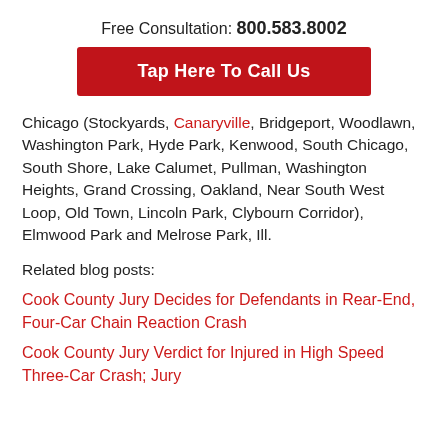Free Consultation: 800.583.8002
Tap Here To Call Us
Chicago (Stockyards, Canaryville, Bridgeport, Woodlawn, Washington Park, Hyde Park, Kenwood, South Chicago, South Shore, Lake Calumet, Pullman, Washington Heights, Grand Crossing, Oakland, Near South West Loop, Old Town, Lincoln Park, Clybourn Corridor), Elmwood Park and Melrose Park, Ill.
Related blog posts:
Cook County Jury Decides for Defendants in Rear-End, Four-Car Chain Reaction Crash
Cook County Jury Verdict for Injured in High Speed Three-Car Crash; Jury